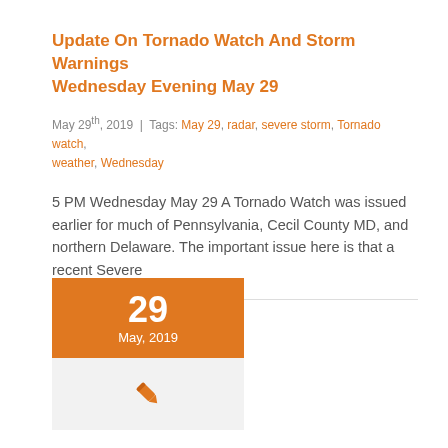Update On Tornado Watch And Storm Warnings Wednesday Evening May 29
May 29th, 2019  |  Tags: May 29, radar, severe storm, Tornado watch, weather, Wednesday
5 PM Wednesday May 29 A Tornado Watch was issued earlier for much of Pennsylvania, Cecil County MD, and northern Delaware. The important issue here is that a recent Severe
[Figure (other): Calendar widget showing date 29, May 2019 with an orange background, and a pen icon below on a light grey background]